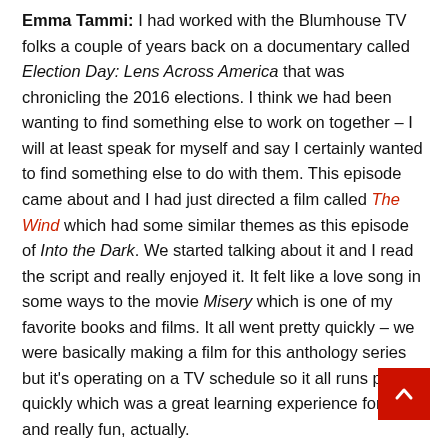Emma Tammi: I had worked with the Blumhouse TV folks a couple of years back on a documentary called Election Day: Lens Across America that was chronicling the 2016 elections. I think we had been wanting to find something else to work on together – I will at least speak for myself and say I certainly wanted to find something else to do with them. This episode came about and I had just directed a film called The Wind which had some similar themes as this episode of Into the Dark. We started talking about it and I read the script and really enjoyed it. It felt like a love song in some ways to the movie Misery which is one of my favorite books and films. It all went pretty quickly – we were basically making a film for this anthology series but it's operating on a TV schedule so it all runs pretty quickly which was a great learning experience for me and really fun, actually.